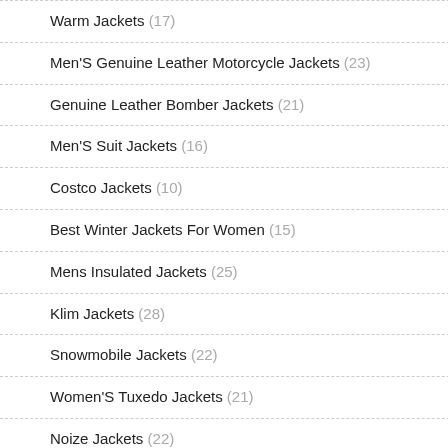Warm Jackets (17)
Men'S Genuine Leather Motorcycle Jackets (23)
Genuine Leather Bomber Jackets (21)
Men'S Suit Jackets (16)
Costco Jackets (10)
Best Winter Jackets For Women (15)
Mens Insulated Jackets (25)
Klim Jackets (28)
Snowmobile Jackets (22)
Women'S Tuxedo Jackets (21)
Noize Jackets (22)
Mens Outdoor Jackets (22)
Herno Jackets (29)
Shein Jackets (8)